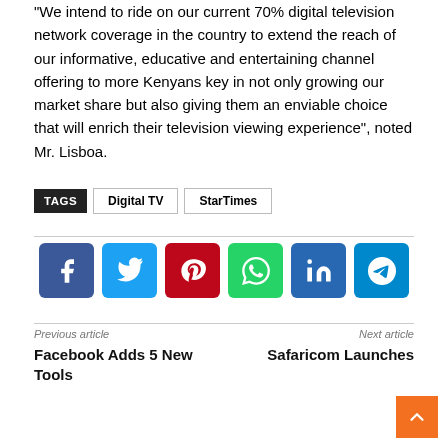"We intend to ride on our current 70% digital television network coverage in the country to extend the reach of our informative, educative and entertaining channel offering to more Kenyans key in not only growing our market share but also giving them an enviable choice that will enrich their television viewing experience", noted Mr. Lisboa.
TAGS  Digital TV  StarTimes
[Figure (infographic): Row of six social media share buttons: Facebook (dark blue), Twitter (light blue), Pinterest (red), WhatsApp (green), LinkedIn (dark blue), Telegram (blue)]
Previous article
Facebook Adds 5 New Tools
Next article
Safaricom Launches